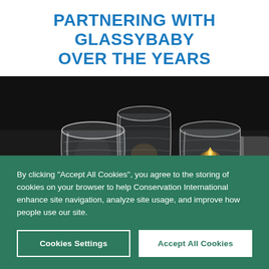PARTNERING WITH GLASSYBABY OVER THE YEARS
[Figure (photo): Three glass votive candle holders on a reflective surface, one with a lit candle inside, dark background]
By clicking "Accept All Cookies", you agree to the storing of cookies on your browser to help Conservation International enhance site navigation, analyze site usage, and improve how people use our site.
Cookies Settings
Accept All Cookies